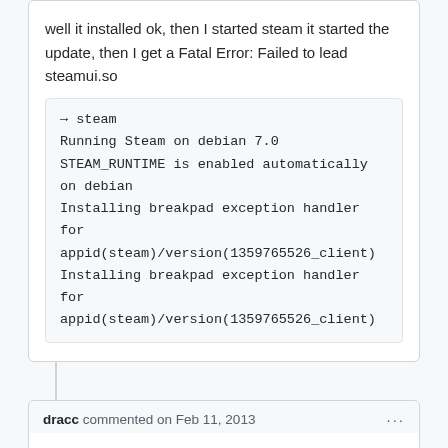well it installed ok, then I started steam it started the update, then I get a Fatal Error: Failed to lead steamui.so
→ steam
Running Steam on debian 7.0
STEAM_RUNTIME is enabled automatically on debian
Installing breakpad exception handler for appid(steam)/version(1359765526_client)
Installing breakpad exception handler for appid(steam)/version(1359765526_client)
dracc commented on Feb 11, 2013
Line 108, wouldn't "${STEAMDIR}" instead of "${STEAM_DIR}" be neat? :D
vkargov commented on Feb 14, 2013